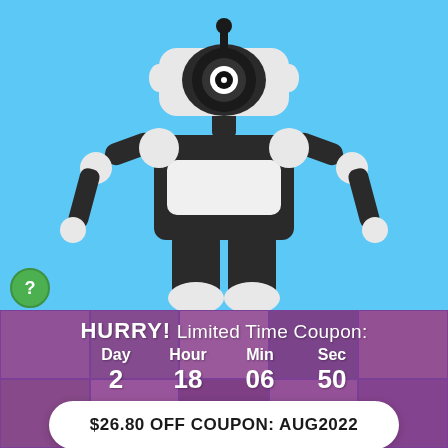[Figure (illustration): Robot character illustration on blue background - black and white robot with camera eye, muscular pose with hands on hips, white chest plate]
HURRY! Limited Time Coupon:
Day 2  Hour 18  Min 06  Sec 50
$26.80 OFF COUPON: AUG2022